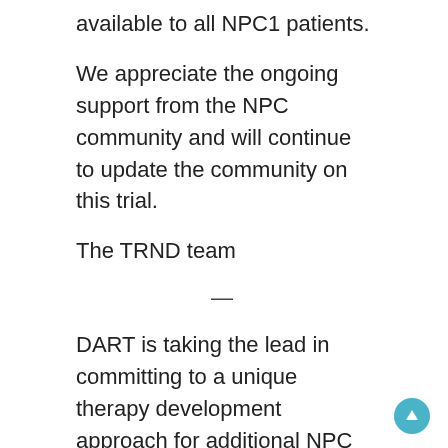regulatory agencies, and ultimately, to be made available to all NPC1 patients.
We appreciate the ongoing support from the NPC community and will continue to update the community on this trial.
The TRND team
—
DART is taking the lead in committing to a unique therapy development approach for additional NPC treatments called SOAR, Support Of Accelerated Research. Working with other NPC families and organizations, SOAR has a multidisciplinary...